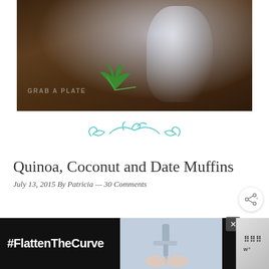[Figure (photo): Close-up food photography of a glass jar and fresh parsley herb on a dark wooden surface, with 'GRAB A PLATE' watermark in bottom left]
[Figure (illustration): Teal/turquoise decorative ornamental divider with swirling flourish design]
Quinoa, Coconut and Date Muffins
July 13, 2015 By Patricia — 30 Comments
[Figure (photo): Close-up photo of muffins, partially visible at bottom of page]
[Figure (photo): Small circular thumbnail of food item on right side]
[Figure (other): Advertisement banner with black background showing '#FlattenTheCurve' text with hand washing image, with close button and wm logo]